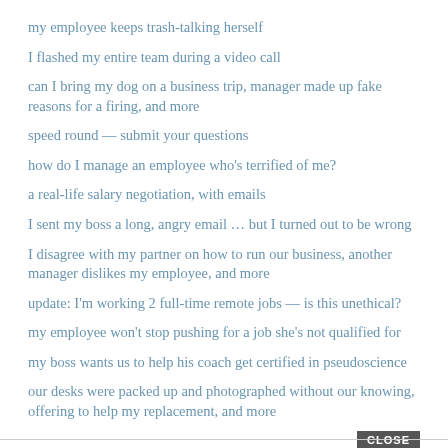my employee keeps trash-talking herself
I flashed my entire team during a video call
can I bring my dog on a business trip, manager made up fake reasons for a firing, and more
speed round — submit your questions
how do I manage an employee who's terrified of me?
a real-life salary negotiation, with emails
I sent my boss a long, angry email … but I turned out to be wrong
I disagree with my partner on how to run our business, another manager dislikes my employee, and more
update: I'm working 2 full-time remote jobs — is this unethical?
my employee won't stop pushing for a job she's not qualified for
my boss wants us to help his coach get certified in pseudoscience
our desks were packed up and photographed without our knowing, offering to help my replacement, and more
CLOSE
Older Posts